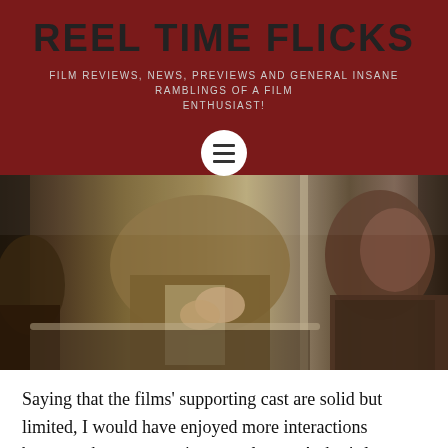REEL TIME FLICKS
FILM REVIEWS, NEWS, PREVIEWS AND GENERAL INSANE RAMBLINGS OF A FILM ENTHUSIAST!
[Figure (photo): A subway or train scene showing passengers seated, one in a tan/khaki jacket holding something, and another person visible on the right side of the frame.]
Saying that the films' supporting cast are solid but limited, I would have enjoyed more interactions between them, two main examples are Arthur's love interest in the film Sophie, their interactions are unique to say the least and more screen time would have been nice, but their relationship has a big part to play later on. The